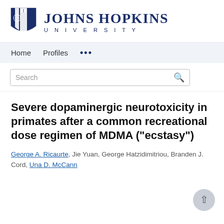[Figure (logo): Johns Hopkins University logo with shield and text]
Home   Profiles   ...
Search
Severe dopaminergic neurotoxicity in primates after a common recreational dose regimen of MDMA ("ecstasy")
George A. Ricaurte, Jie Yuan, George Hatzidimitriou, Branden J. Cord, Una D. McCann